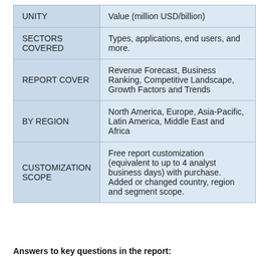|  |  |
| --- | --- |
| UNITY | Value (million USD/billion) |
| SECTORS COVERED | Types, applications, end users, and more. |
| REPORT COVER | Revenue Forecast, Business Ranking, Competitive Landscape, Growth Factors and Trends |
| BY REGION | North America, Europe, Asia-Pacific, Latin America, Middle East and Africa |
| CUSTOMIZATION SCOPE | Free report customization (equivalent to up to 4 analyst business days) with purchase. Added or changed country, region and segment scope. |
Answers to key questions in the report: